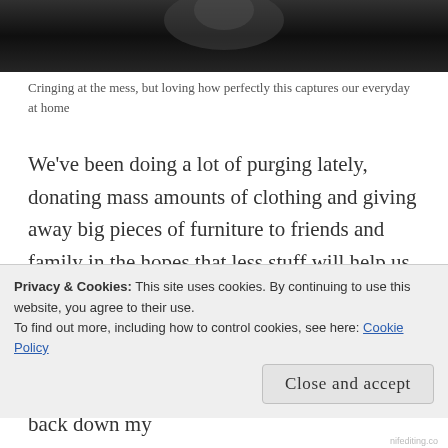[Figure (photo): Black and white photo of a person at home, partially visible at the top of the page]
Cringing at the mess, but loving how perfectly this captures our everyday at home
We've been doing a lot of purging lately, donating mass amounts of clothing and giving away big pieces of furniture to friends and family in the hopes that less stuff will help us use our space better. We mulled over some new furniture arrangements, and Brian finally gave me the okay to do some painting and work on the kitchen. In return, I'm going to back down my
Privacy & Cookies: This site uses cookies. By continuing to use this website, you agree to their use.
To find out more, including how to control cookies, see here: Cookie Policy
Close and accept
nifediting.co